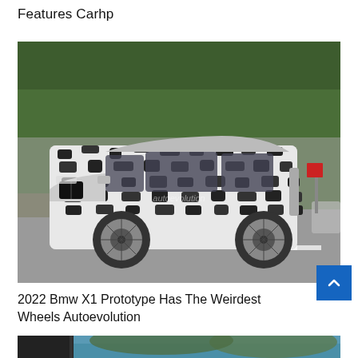Features Carhp
[Figure (photo): A camouflaged 2022 BMW X1 prototype SUV driving on a road, surrounded by trees. The car is wrapped in black and white camouflage pattern. Watermark reads 'autoevolution' on the center of the image.]
2022 Bmw X1 Prototype Has The Weirdest Wheels Autoevolution
[Figure (photo): Partial view of another car article image showing a vehicle near water with mountains in background, only top portion visible.]